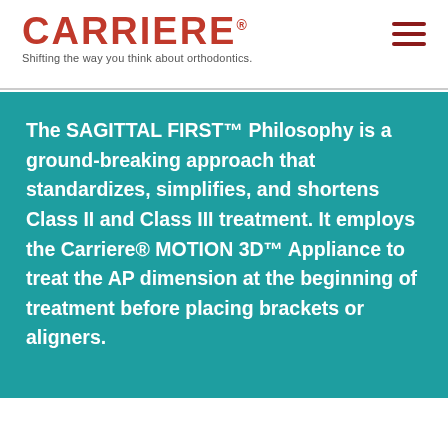[Figure (logo): CARRIERE logo in dark red with registered trademark symbol and tagline 'Shifting the way you think about orthodontics.']
The SAGITTAL FIRST™ Philosophy is a ground-breaking approach that standardizes, simplifies, and shortens Class II and Class III treatment. It employs the Carriere® MOTION 3D™ Appliance to treat the AP dimension at the beginning of treatment before placing brackets or aligners.